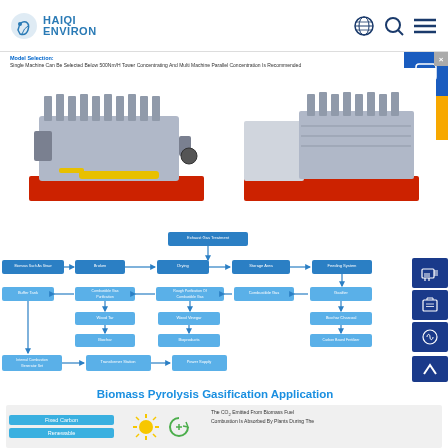HAIQI ENVIRON
Model Selection: Single Machine Can Be Selected Below 500Nm/H Tower Concentrating And Multi Machine Parallel Concentration Is Recommended Per Above 500Nm/H
[Figure (photo): Two biomass gas generator sets on red bases - large industrial engines]
[Figure (flowchart): Biomass gasification process flowchart showing: Biomass Such As Straw -> Broken -> Drying -> Storage Area -> Feeding System; Buffer Tank <- Combustible Gas Purification <- Rough Purification Of Combustible Gas <- Combustible Gas <- Gasifier; Wood Tar; Wood Vinegar; Biochar; Bioproducts; Carbon Based Fertilizer; Exhaust Gas Treatment; Internal Combustion Generator Set -> Transformer Station -> Power Supply]
Biomass Pyrolysis Gasification Application
[Figure (infographic): Bottom infographic showing Fixed Carbon and Renewable labels on left, sun and recycling icons in middle, and text about CO2 from biomass fuel combustion being absorbed by plants]
The CO₂ Emitted From Biomass Fuel Combustion Is Absorbed By Plants During The